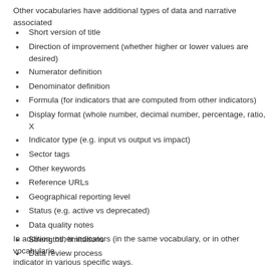Other vocabularies have additional types of data and narrative associated
Short version of title
Direction of improvement (whether higher or lower values are desired)
Numerator definition
Denominator definition
Formula (for indicators that are computed from other indicators)
Display format (whole number, decimal number, percentage, ratio, X)
Indicator type (e.g. input vs output vs impact)
Sector tags
Other keywords
Reference URLs
Geographical reporting level
Status (e.g. active vs deprecated)
Data quality notes
Strengths, limitations
Data review process
In addition, other indicators (in the same vocabulary, or in other vocabularies) indicator in various specific ways.